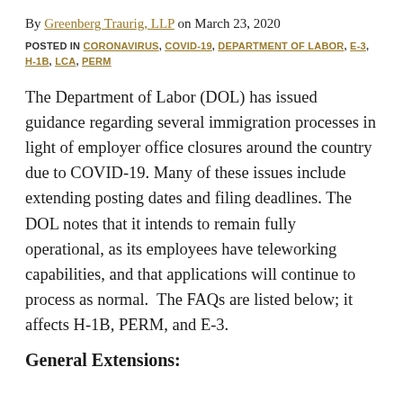By Greenberg Traurig, LLP on March 23, 2020
POSTED IN CORONAVIRUS, COVID-19, DEPARTMENT OF LABOR, E-3, H-1B, LCA, PERM
The Department of Labor (DOL) has issued guidance regarding several immigration processes in light of employer office closures around the country due to COVID-19. Many of these issues include extending posting dates and filing deadlines. The DOL notes that it intends to remain fully operational, as its employees have teleworking capabilities, and that applications will continue to process as normal.  The FAQs are listed below; it affects H-1B, PERM, and E-3.
General Extensions: